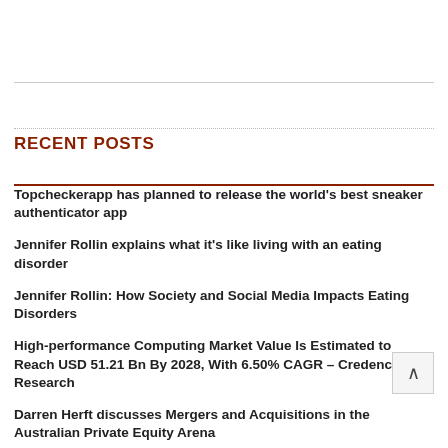RECENT POSTS
Topcheckerapp has planned to release the world's best sneaker authenticator app
Jennifer Rollin explains what it's like living with an eating disorder
Jennifer Rollin: How Society and Social Media Impacts Eating Disorders
High-performance Computing Market Value Is Estimated to Reach USD 51.21 Bn By 2028, With 6.50% CAGR – Credence Research
Darren Herft discusses Mergers and Acquisitions in the Australian Private Equity Arena